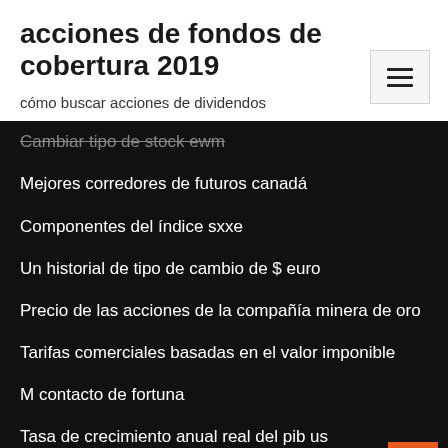acciones de fondos de cobertura 2019
cómo buscar acciones de dividendos
Cambiar tipo de stock ewm
Mejores corredores de futuros canadá
Componentes del índice sxxe
Un historial de tipo de cambio de $ euro
Precio de las acciones de la compañía minera de oro
Tarifas comerciales basadas en el valor imponible
M contacto de fortuna
Tasa de crecimiento anual real del pib us
Función cagr rate excel